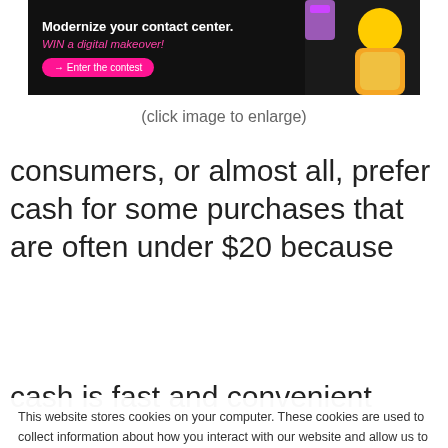[Figure (screenshot): Advertisement banner: dark background with text 'Modernize your contact center. WIN a digital makeover!' and a pink CTA button '→ Enter the contest', with a woman in yellow clothing on the right side]
(click image to enlarge)
consumers, or almost all, prefer cash for some purchases that are often under $20 because cash is fast and convenient (Source: Visa...
This website stores cookies on your computer. These cookies are used to collect information about how you interact with our website and allow us to remember you. We use this information in order to improve and customize your browsing experience and for analytics and metrics about our visitors both on this website and other media. To find out more about the cookies we use, see our Privacy Policy. California residents have the right to direct us not to sell their personal information to third parties by filing an Opt-Out Request: Do Not Sell My Personal Info.